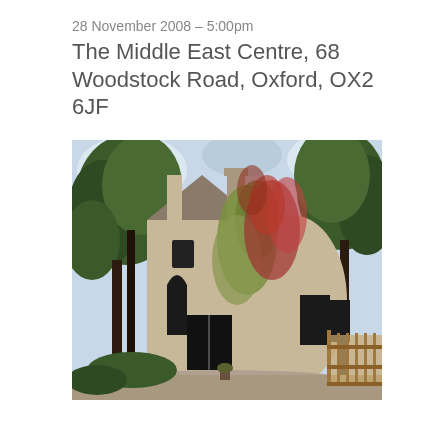28 November 2008 – 5:00pm
The Middle East Centre, 68 Woodstock Road, Oxford, OX2 6JF
[Figure (photo): Photograph of a large Victorian stone building (The Middle East Centre, 68 Woodstock Road, Oxford) with ivy and climbing plants covering its facade, surrounded by tall trees, with a wooden fence visible on the right side.]